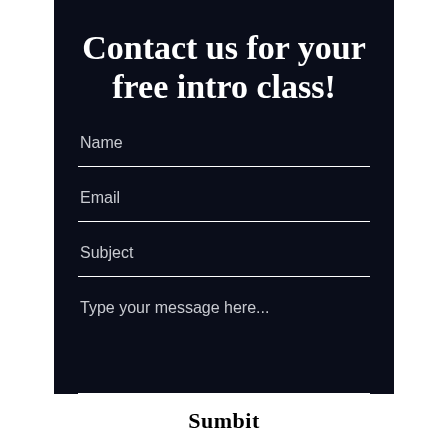Contact us for your free intro class!
Name
Email
Subject
Type your message here...
Sumbit